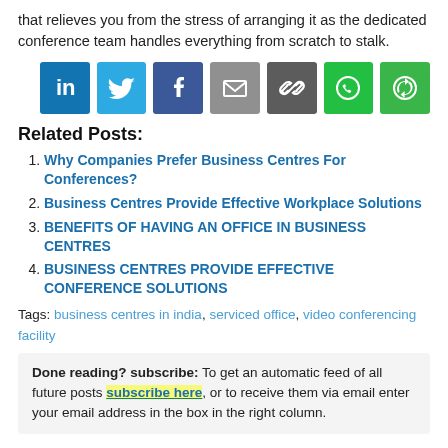that relieves you from the stress of arranging it as the dedicated conference team handles everything from scratch to stalk.
[Figure (infographic): Row of 7 social share icon buttons: LinkedIn (blue), Twitter (light blue), Facebook (dark blue), Email (grey), Link/chain (dark grey), WhatsApp (green), Share/refresh (green)]
Related Posts:
Why Companies Prefer Business Centres For Conferences?
Business Centres Provide Effective Workplace Solutions
BENEFITS OF HAVING AN OFFICE IN BUSINESS CENTRES
BUSINESS CENTRES PROVIDE EFFECTIVE CONFERENCE SOLUTIONS
Tags: business centres in india, serviced office, video conferencing facility
Done reading? subscribe: To get an automatic feed of all future posts subscribe here, or to receive them via email enter your email address in the box in the right column.